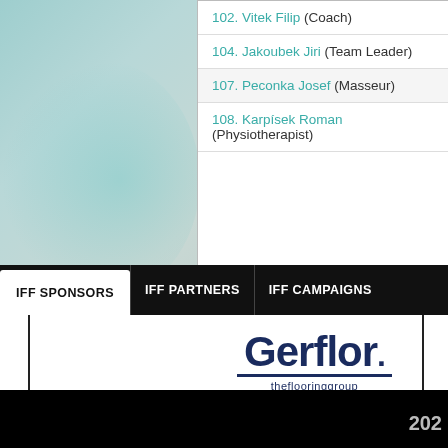102. Vitek Filip (Coach)
104. Jakoubek Jiri (Team Leader)
107. Peconka Josef (Masseur)
108. Karpísek Roman (Physiotherapist)
IFF SPONSORS
IFF PARTNERS
IFF CAMPAIGNS
[Figure (logo): Gerflor theflooringgroup logo in navy blue]
IFF Alakiventie 2, 00920 Helsinki, Finland Phone: +...
202